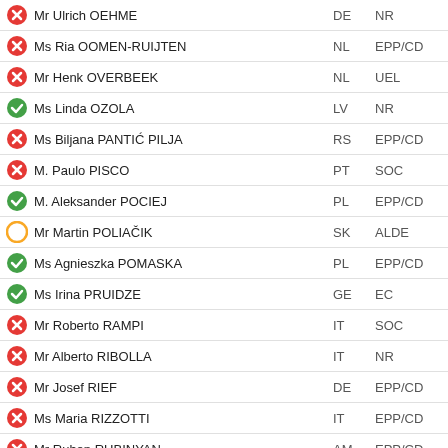Mr Ulrich OEHME | DE | NR | red-x
Ms Ria OOMEN-RUIJTEN | NL | EPP/CD | red-x
Mr Henk OVERBEEK | NL | UEL | red-x
Ms Linda OZOLA | LV | NR | green-check
Ms Biljana PANTIĆ PILJA | RS | EPP/CD | red-x
M. Paulo PISCO | PT | SOC | red-x
M. Aleksander POCIEJ | PL | EPP/CD | green-check
Mr Martin POLIAČIK | SK | ALDE | yellow-circle
Ms Agnieszka POMASKA | PL | EPP/CD | green-check
Ms Irina PRUIDZE | GE | EC | green-check
Mr Roberto RAMPI | IT | SOC | red-x
Mr Alberto RIBOLLA | IT | NR | red-x
Mr Josef RIEF | DE | EPP/CD | red-x
Ms Maria RIZZOTTI | IT | EPP/CD | red-x
Mr Ruben RUBINYAN | AM | EPP/CD | red-x
Mr Ali ŞAHIN | TR | NR | red-x
Ms Ulla SANDBÆK | DK | UEL | red-x